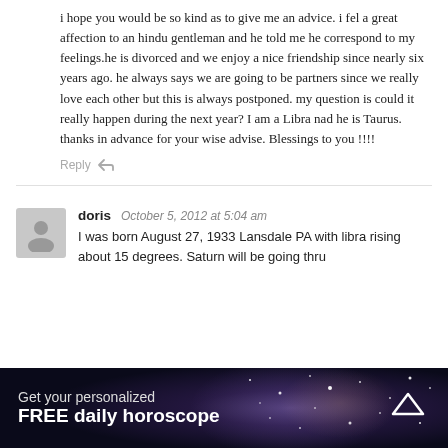i hope you would be so kind as to give me an advice. i fel a great affection to an hindu gentleman and he told me he correspond to my feelings.he is divorced and we enjoy a nice friendship since nearly six years ago. he always says we are going to be partners since we really love each other but this is always postponed. my question is could it really happen during the next year? I am a Libra nad he is Taurus.
thanks in advance for your wise advise. Blessings to you !!!!
Reply
doris  October 5, 2012 at 5:04 am
I was born August 27, 1933 Lansdale PA with libra rising about 15 degrees. Saturn will be going thru
Get your personalized
FREE daily horoscope